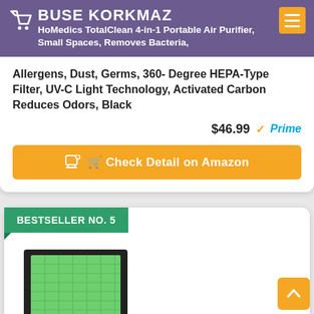BUSE KORKMAZ
HoMedics TotalClean 4-in-1 Portable Air Purifier, Small Spaces, Removes Bacteria, Allergens, Dust, Germs, 360- Degree HEPA-Type Filter, UV-C Light Technology, Activated Carbon Reduces Odors, Black
$46.99 Prime
Check Detail on Amazon
BESTSELLER NO. 5
[Figure (photo): Green HEPA air filter panel with black frame]